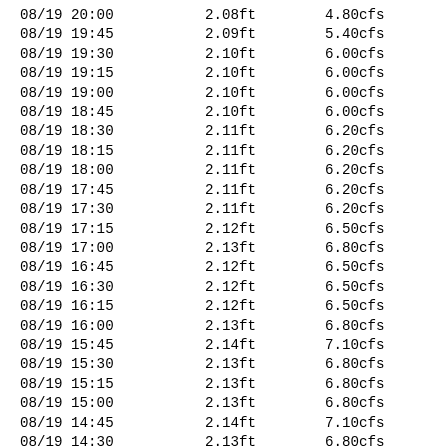| Date/Time | Stage | Flow |
| --- | --- | --- |
| 08/19 20:00 | 2.08ft | 4.80cfs |
| 08/19 19:45 | 2.09ft | 5.40cfs |
| 08/19 19:30 | 2.10ft | 6.00cfs |
| 08/19 19:15 | 2.10ft | 6.00cfs |
| 08/19 19:00 | 2.10ft | 6.00cfs |
| 08/19 18:45 | 2.10ft | 6.00cfs |
| 08/19 18:30 | 2.11ft | 6.20cfs |
| 08/19 18:15 | 2.11ft | 6.20cfs |
| 08/19 18:00 | 2.11ft | 6.20cfs |
| 08/19 17:45 | 2.11ft | 6.20cfs |
| 08/19 17:30 | 2.11ft | 6.20cfs |
| 08/19 17:15 | 2.12ft | 6.50cfs |
| 08/19 17:00 | 2.13ft | 6.80cfs |
| 08/19 16:45 | 2.12ft | 6.50cfs |
| 08/19 16:30 | 2.12ft | 6.50cfs |
| 08/19 16:15 | 2.12ft | 6.50cfs |
| 08/19 16:00 | 2.13ft | 6.80cfs |
| 08/19 15:45 | 2.14ft | 7.10cfs |
| 08/19 15:30 | 2.13ft | 6.80cfs |
| 08/19 15:15 | 2.13ft | 6.80cfs |
| 08/19 15:00 | 2.13ft | 6.80cfs |
| 08/19 14:45 | 2.14ft | 7.10cfs |
| 08/19 14:30 | 2.13ft | 6.80cfs |
| 08/19 14:15 | 2.13ft | 6.80cfs |